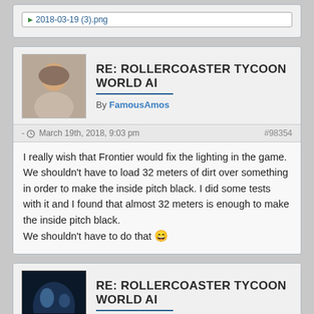2018-03-19 (3).png
RE: ROLLERCOASTER TYCOON WORLD AI
By FamousAmos
- March 19th, 2018, 9:03 pm   #98354
I really wish that Frontier would fix the lighting in the game. We shouldn't have to load 32 meters of dirt over something in order to make the inside pitch black. I did some tests with it and I found that almost 32 meters is enough to make the inside pitch black.
We shouldn't have to do that 😄
RE: ROLLERCOASTER TYCOON WORLD AI
By tarheel1231
- March 19th, 2018, 9:14 pm   #